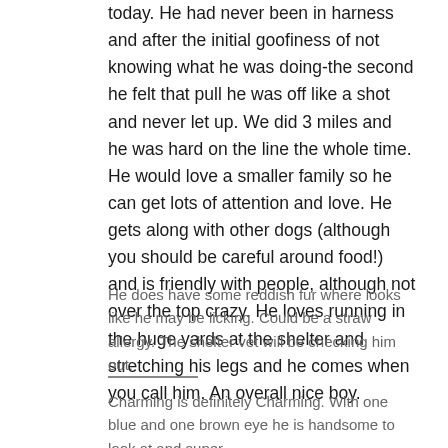today.  He had never been in harness and after the initial goofiness of not knowing what he was doing-the second he felt that pull he was off like a shot and never let up.  We did 3 miles and he was hard on the line the whole time.  He would love a smaller family so he can get lots of attention and love.  He gets along with other dogs (although you should be careful around food!) and is friendly with people, although not over the top crazy.  He loves running in the huge yards at the shelter and stretching his legs and he comes when you call him.  An overall nice boy.
He does have some reddish fur where looks like he may be licking.  Could be a straw allergy.  The shelter vet will be checking him out.
Charming is definitely Charming.  With one blue and one brown eye he is handsome to look at and super